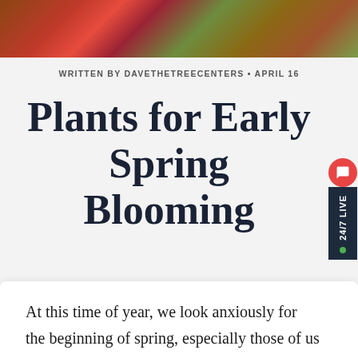[Figure (photo): Hero photo of flowering plants with pink/red blooms and yellow flowers against dark foliage, date stamp visible in upper right]
WRITTEN BY DAVETHETREECENTERS • APRIL 16
Plants for Early Spring Blooming
At this time of year, we look anxiously for the beginning of spring, especially those of us who live in cold areas, where April is merely the month when all the snow finally disappears. We might take a walk around our neighborhoods and see plants in bloom, but when we come back through the gate our own